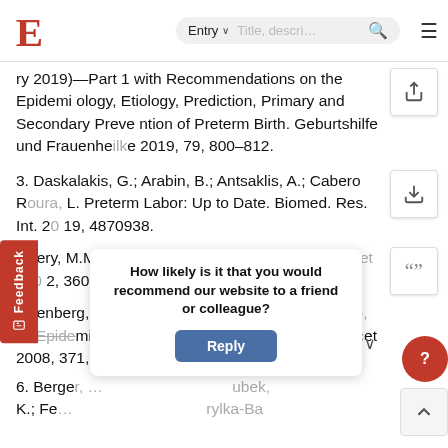E | Entry | Title, description search
ry 2019)—Part 1 with Recommendations on the Epidemiology, Etiology, Prediction, Primary and Secondary Prevention of Preterm Birth. Geburtshilfe und Frauenheilkunde 2019, 79, 800–812.
3. Daskalakis, G.; Arabin, B.; Antsaklis, A.; Cabero Roura, L. Preterm Labor: Up to Date. Biomed. Res. Int. 2019, 4870938.
Slattery, M.M.; Morrison, J.J. Preterm delivery. Lancet 2002, 360, 1489–1497.
Goldenberg, R.L.; Culhane, J.F.; Iams, J.D.; Romero, R. Epidemiology and causes of preterm birth. Lancet 2008, 371, 7…
6. Berge… Gubek, K.; Fe… rylka-Ba
How likely is it that you would recommend our website to a friend or colleague? Reply